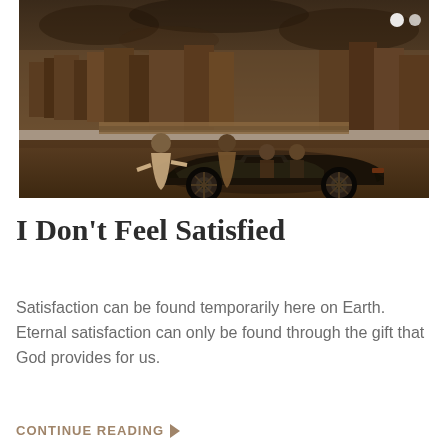[Figure (photo): Sepia-toned photograph showing a robed figure (Jesus) gesturing toward people standing around a black Ferrari sports car, with ancient stone buildings in the background under a dramatic sky.]
I Don't Feel Satisfied
Satisfaction can be found temporarily here on Earth. Eternal satisfaction can only be found through the gift that God provides for us.
CONTINUE READING